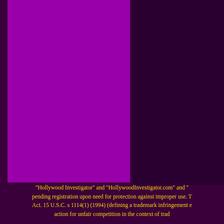[Figure (illustration): Dark purple background page with a bright magenta/purple rectangle occupying the upper-left area of the page, and a darker purple region on the upper right.]
"Hollywood Investigator" and "HollywoodInvestigator.com" and " pending registration upon need for protection against improper use. T Act. 15 U.S.C. s 1114(1) (1994) (defining a trademark infringement e action for unfair competition in the context of trad